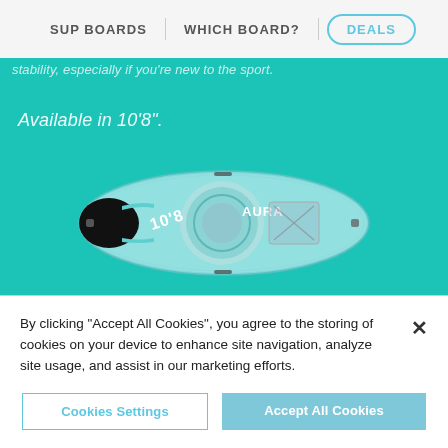SUP BOARDS | WHICH BOARD? | DEALS
stability, especially if you're new to the sport.
Available in 10'8".
[Figure (photo): Top-down view of a turquoise/teal inflatable SUP paddleboard labeled 'AURA' and '10'8', with black nose section, circular design, and bungee strap area on teal background.]
SHOP NOW
By clicking "Accept All Cookies", you agree to the storing of cookies on your device to enhance site navigation, analyze site usage, and assist in our marketing efforts.
Cookies Settings
Accept All Cookies